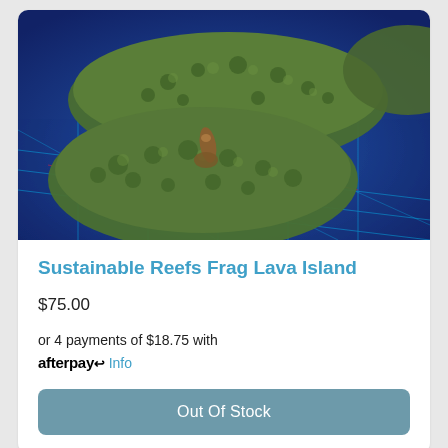[Figure (photo): Photo of coral frags (Sustainable Reefs Frag Lava Island) on a blue gridded surface under aquarium lighting. Two greenish-brown coral pieces visible on a blue/purple grid mat.]
Sustainable Reefs Frag Lava Island
$75.00
or 4 payments of $18.75 with afterpay Info
Out Of Stock
[Figure (photo): Partial view of a second product card with a coral photo (cropped at bottom of page).]